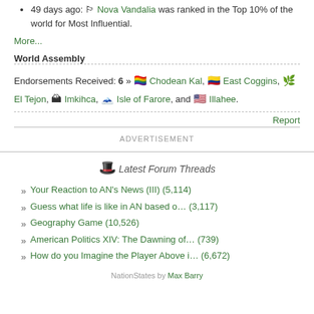49 days ago: Nova Vandalia was ranked in the Top 10% of the world for Most Influential.
More...
World Assembly
Endorsements Received: 6 » 🏳️‍🌈 Chodean Kal, 🇨🇴 East Coggins, El Tejon, Imkihca, Isle of Farore, and Illahee.
Report
ADVERTISEMENT
Latest Forum Threads
Your Reaction to AN's News (III) (5,114)
Guess what life is like in AN based o… (3,117)
Geography Game (10,526)
American Politics XIV: The Dawning of… (739)
How do you Imagine the Player Above i… (6,672)
NationStates by Max Barry